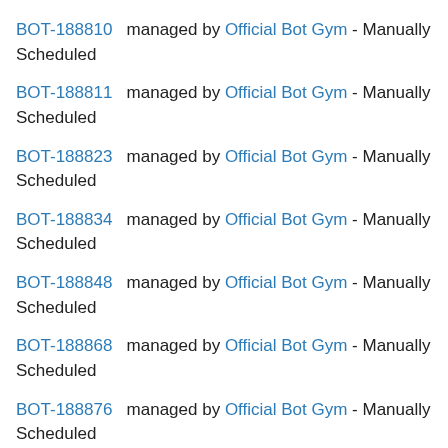BOT-188810  managed by Official Bot Gym - Manually Scheduled
BOT-188811  managed by Official Bot Gym - Manually Scheduled
BOT-188823  managed by Official Bot Gym - Manually Scheduled
BOT-188834  managed by Official Bot Gym - Manually Scheduled
BOT-188848  managed by Official Bot Gym - Manually Scheduled
BOT-188868  managed by Official Bot Gym - Manually Scheduled
BOT-188876  managed by Official Bot Gym - Manually Scheduled